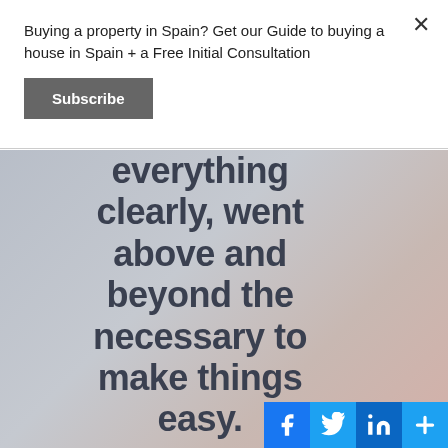Buying a property in Spain? Get our Guide to buying a house in Spain + a Free Initial Consultation
Subscribe
[Figure (photo): Background image with large bold dark text reading 'everything clearly, went above and beyond the necessary to make things easy.' overlaid on a blurred gradient background in grey and muted rose tones. Social share buttons for Facebook, Twitter, LinkedIn, and AddThis appear at the bottom right.]